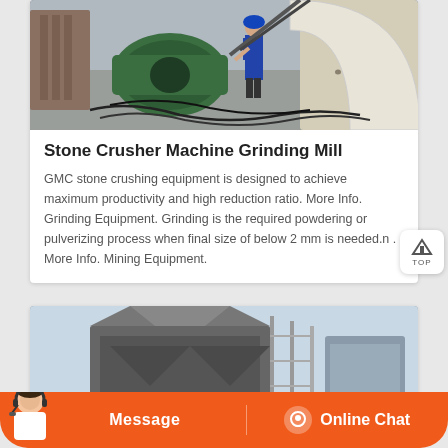[Figure (photo): Industrial site photo showing a large green electric motor or crusher machine with cables on the ground, a worker in safety gear standing nearby, and a large curved metal structure on the right, in an outdoor industrial/mining setting.]
Stone Crusher Machine Grinding Mill
GMC stone crushing equipment is designed to achieve maximum productivity and high reduction ratio. More Info. Grinding Equipment. Grinding is the required powdering or pulverizing process when final size of below 2 mm is needed.n . More Info. Mining Equipment.
[Figure (photo): Industrial facility photo showing large stone crusher or grinding mill equipment outdoors with scaffolding and blue sky in background.]
Message
Online Chat